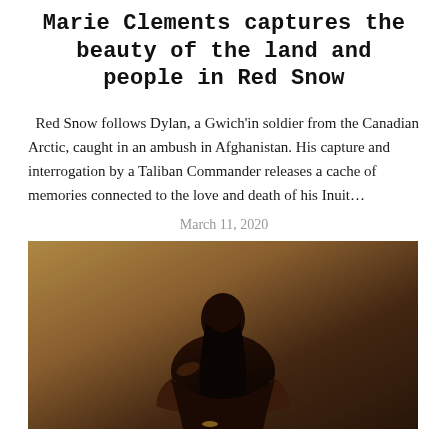Marie Clements captures the beauty of the land and people in Red Snow
Red Snow follows Dylan, a Gwich'in soldier from the Canadian Arctic, caught in an ambush in Afghanistan. His capture and interrogation by a Taliban Commander releases a cache of memories connected to the love and death of his Inuit…
March 11, 2020
[Figure (photo): A dark, warmly-lit photograph showing a person from behind, with dark hair, wearing a dark top, set against a brown textured background.]